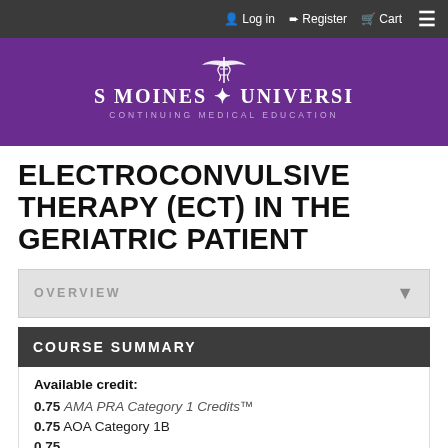Log in  Register  Cart
[Figure (logo): Des Moines University Continuing Medical Education logo with caduceus symbol on purple background]
ELECTROCONVULSIVE THERAPY (ECT) IN THE GERIATRIC PATIENT
OVERVIEW
COURSE SUMMARY
Available credit:
0.75 AMA PRA Category 1 Credits™
0.75 AOA Category 1B
0.75 ...